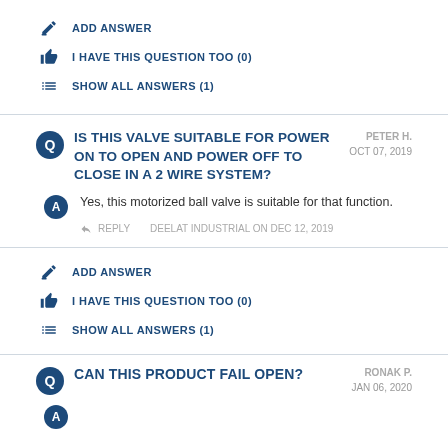ADD ANSWER
I HAVE THIS QUESTION TOO (0)
SHOW ALL ANSWERS (1)
IS THIS VALVE SUITABLE FOR POWER ON TO OPEN AND POWER OFF TO CLOSE IN A 2 WIRE SYSTEM?
PETER H. OCT 07, 2019
Yes, this motorized ball valve is suitable for that function.
REPLY   DEELAT INDUSTRIAL ON DEC 12, 2019
ADD ANSWER
I HAVE THIS QUESTION TOO (0)
SHOW ALL ANSWERS (1)
CAN THIS PRODUCT FAIL OPEN?
RONAK P. JAN 06, 2020